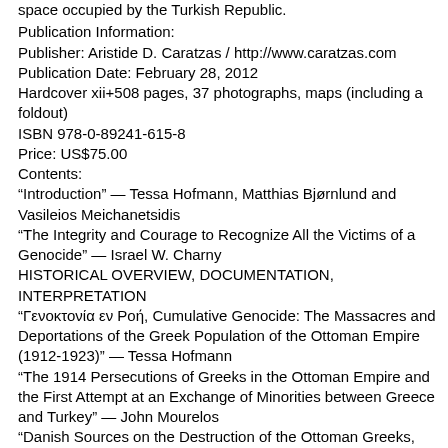space occupied by the Turkish Republic.
Publication Information:
Publisher: Aristide D. Caratzas / http://www.caratzas.com
Publication Date: February 28, 2012
Hardcover xii+508 pages, 37 photographs, maps (including a foldout)
ISBN 978-0-89241-615-8
Price: US$75.00
Contents:
“Introduction” — Tessa Hofmann, Matthias Bjørnlund and Vasileios Meichanetsidis
“The Integrity and Courage to Recognize All the Victims of a Genocide” — Israel W. Charny
HISTORICAL OVERVIEW, DOCUMENTATION, INTERPRETATION
“Γενοκτονία εν Ροή, Cumulative Genocide: The Massacres and Deportations of the Greek Population of the Ottoman Empire (1912-1923)” — Tessa Hofmann
“The 1914 Persecutions of Greeks in the Ottoman Empire and the First Attempt at an Exchange of Minorities between Greece and Turkey” — John Mourelos
“Danish Sources on the Destruction of the Ottoman Greeks, 1914-1916” — Matthias Bjørnlund